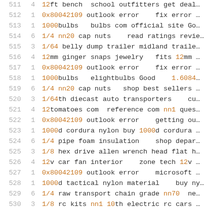| # | cnt | text |
| --- | --- | --- |
| 511 | 4 | 12ft bench  school outfitters get deal… |
| 512 | 1 | 0x80042109 outlook error    fix error … |
| 513 | 1 | 1000bulbs   bulbs com official site Go… |
| 514 | 6 | 1/4 nn20 cap nuts    read ratings revie… |
| 515 | 3 | 1/64 belly dump trailer midland traile… |
| 516 | 4 | 12mm ginger snaps jewelry   fits 12mm … |
| 517 | 1 | 0x80042109 outlook error    fix error … |
| 518 | 1 | 1000bulbs   elightbulbs Good   1.6084… |
| 519 | 6 | 1/4 nn20 cap nuts   shop best sellers … |
| 520 | 3 | 1/64th diecast auto transporters    cu… |
| 521 | 4 | 12tomatoes com  reference com nn1 ques… |
| 522 | 1 | 0x80042109 outlook error    getting ou… |
| 523 | 1 | 1000d cordura nylon buy 1000d cordura … |
| 524 | 6 | 1/4 pipe foam insulation    shop depar… |
| 525 | 3 | 1/8 hex drive allen wrench head flat h… |
| 526 | 4 | 12v car fan interior    zone tech 12v … |
| 527 | 1 | 0x80042109 outlook error    microsoft … |
| 528 | 1 | 1000d tactical nylon material   buy ny… |
| 529 | 6 | 1/4 raw transport chain grade nn70  ne… |
| 530 | 3 | 1/8 rc kits nn1 10th electric rc cars … |